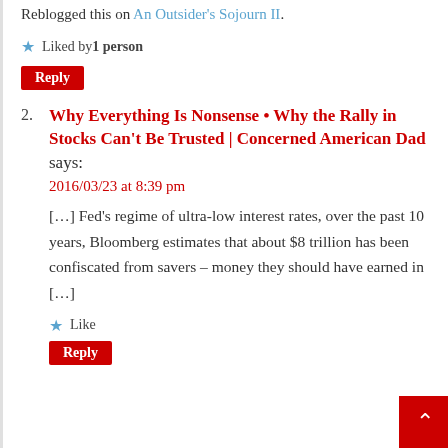Reblogged this on An Outsider's Sojourn II.
Liked by 1 person
Reply
2. Why Everything Is Nonsense • Why the Rally in Stocks Can't Be Trusted | Concerned American Dad says:
2016/03/23 at 8:39 pm
[…] Fed's regime of ultra-low interest rates, over the past 10 years, Bloomberg estimates that about $8 trillion has been confiscated from savers – money they should have earned in […]
Like
Reply